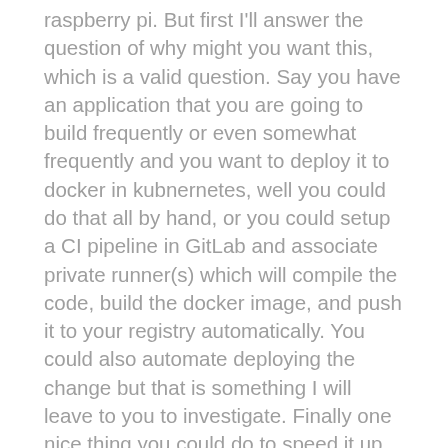raspberry pi. But first I'll answer the question of why might you want this, which is a valid question. Say you have an application that you are going to build frequently or even somewhat frequently and you want to deploy it to docker in kubnernetes, well you could do that all by hand, or you could setup a CI pipeline in GitLab and associate private runner(s) which will compile the code, build the docker image, and push it to your registry automatically. You could also automate deploying the change but that is something I will leave to you to investigate. Finally one nice thing you could do to speed it up would be to build the binaries on on x86/amd64 doing a cross compile, then publish those artifacts and build the docker image on your raspberry pi runner in order to take advantage of the increased processor speed during compilation and only use the slower ARMv6 or ARMv7 processor when